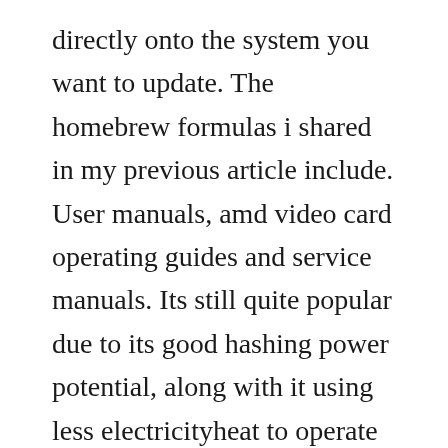directly onto the system you want to update. The homebrew formulas i shared in my previous article include. User manuals, amd video card operating guides and service manuals. Its still quite popular due to its good hashing power potential, along with it using less electricityheat to operate than the higherend chips like the 7970. Im running a 64bit w7 system with an amd radeon 5770.
Ati radeon hd 5770 graphics card radeon hd 5770 1 gb sign in to comment. Currently the settings seem to work the same for both the